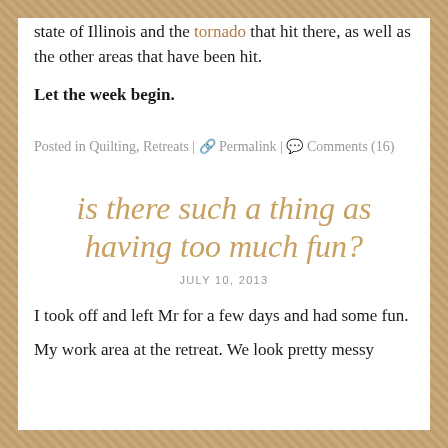state of Illinois and the tornado that hit there, as well as the other areas that have been hit.
Let the week begin.
Posted in Quilting, Retreats | 🔗 Permalink | 💬 Comments (16)
is there such a thing as having too much fun?
JULY 10, 2013
I took off and left Mr for a few days and had some fun.
My work area at the retreat. We look pretty messy